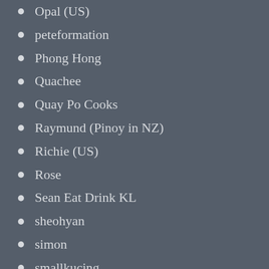Opal (US)
peteformation
Phong Hong
Quachee
Quay Po Cooks
Raymund (Pinoy in NZ)
Richie (US)
Rose
Sean Eat Drink KL
sheohyan
simon
smallkucing
Thanis Lim (Brunei)
The Yum List
WordPress.com
WordPress.org
You